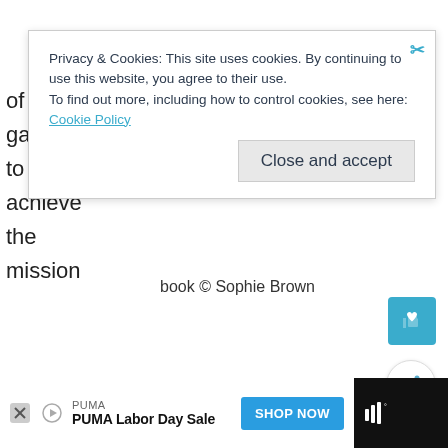of each
game is
to
achieve
the
mission
book © Sophie Brown
Privacy & Cookies: This site uses cookies. By continuing to use this website, you agree to their use.
To find out more, including how to control cookies, see here: Cookie Policy
Close and accept
[Figure (screenshot): Like/follow button (teal square with heart icon)]
[Figure (screenshot): Share button (white circle with share icon)]
[Figure (screenshot): Ad bar at bottom: PUMA Labor Day Sale with SHOP NOW button]